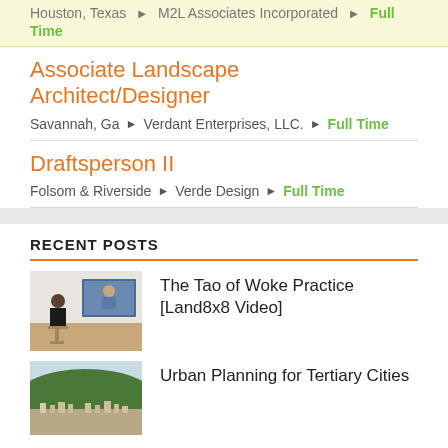Houston, Texas ▶ M2L Associates Incorporated ▶ Full Time
Associate Landscape Architect/Designer
Savannah, Ga ▶ Verdant Enterprises, LLC. ▶ Full Time
Draftsperson II
Folsom & Riverside ▶ Verde Design ▶ Full Time
RECENT POSTS
The Tao of Woke Practice [Land8x8 Video]
[Figure (photo): Person presenting in front of a screen showing a video call or presentation]
Urban Planning for Tertiary Cities
[Figure (photo): Aerial or elevated view of a city with green hills in the background]